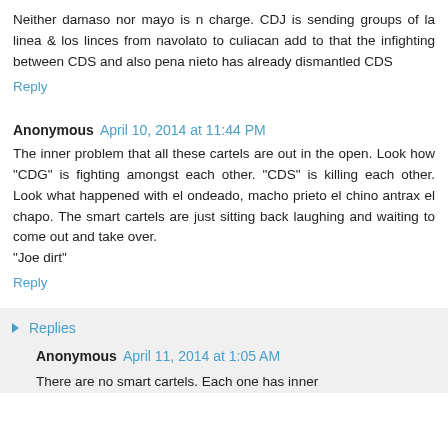Neither damaso nor mayo is n charge. CDJ is sending groups of la linea & los linces from navolato to culiacan add to that the infighting between CDS and also pena nieto has already dismantled CDS
Reply
Anonymous April 10, 2014 at 11:44 PM
The inner problem that all these cartels are out in the open. Look how "CDG" is fighting amongst each other. "CDS" is killing each other. Look what happened with el ondeado, macho prieto el chino antrax el chapo. The smart cartels are just sitting back laughing and waiting to come out and take over.
"Joe dirt"
Reply
Replies
Anonymous April 11, 2014 at 1:05 AM
There are no smart cartels. Each one has inner...